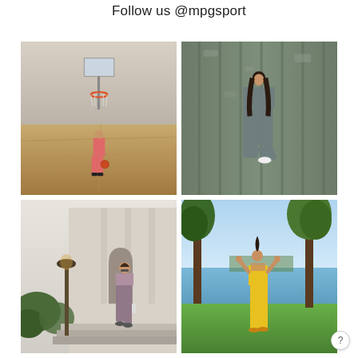Follow us @mpgsport
[Figure (photo): Woman in pink/coral athletic set (sports bra and leggings) holding a basketball on an indoor basketball court with a hoop in the background]
[Figure (photo): Woman in grey textured athletic set (sports bra and leggings) posing with one knee raised in front of a green corrugated metal wall]
[Figure (photo): Woman in mauve/purple athletic set (sports bra and leggings) wearing sunglasses, walking down steps outside a classical building with a street lamp]
[Figure (photo): Woman in yellow athletic set (crop top and leggings) posing with back to camera, arms raised, near trees and a lake in a park]